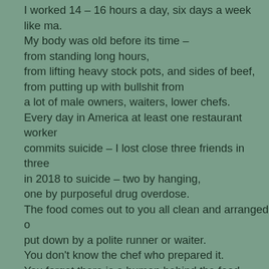I worked 14 – 16 hours a day, six days a week like ma. My body was old before its time – from standing long hours, from lifting heavy stock pots, and sides of beef, from putting up with bullshit from a lot of male owners, waiters, lower chefs. Every day in America at least one restaurant worker commits suicide – I lost close three friends in three in 2018 to suicide – two by hanging, one by purposeful drug overdose. The food comes out to you all clean and arranged o put down by a polite runner or waiter. You don't know the chef who prepared it. You forget there is a human behind the food. People who work in restaurants often do not fit into Corporate America, Mid-America, Family America. Restaurants are like families – some are totally dysfunctional, there is abuse, there is sub Others are well organized and run like clocks,